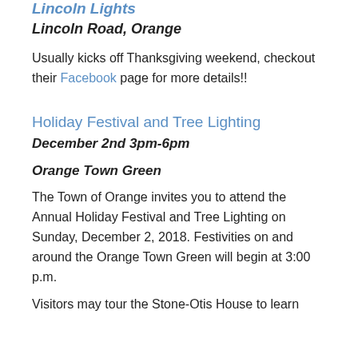Lincoln Lights
Lincoln Road, Orange
Usually kicks off Thanksgiving weekend, checkout their Facebook page for more details!!
Holiday Festival and Tree Lighting
December 2nd 3pm-6pm
Orange Town Green
The Town of Orange invites you to attend the Annual Holiday Festival and Tree Lighting on Sunday, December 2, 2018.  Festivities on and around the Orange Town Green will begin at 3:00 p.m.
Visitors may tour the Stone-Otis House to learn